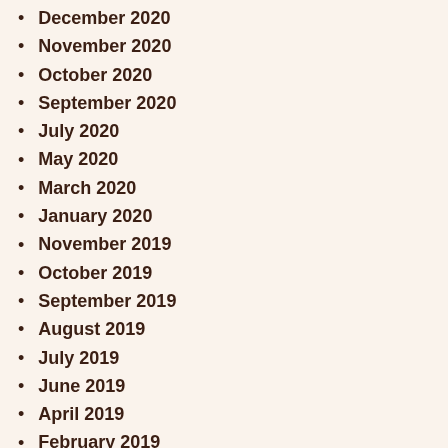December 2020
November 2020
October 2020
September 2020
July 2020
May 2020
March 2020
January 2020
November 2019
October 2019
September 2019
August 2019
July 2019
June 2019
April 2019
February 2019
January 2019
December 2018